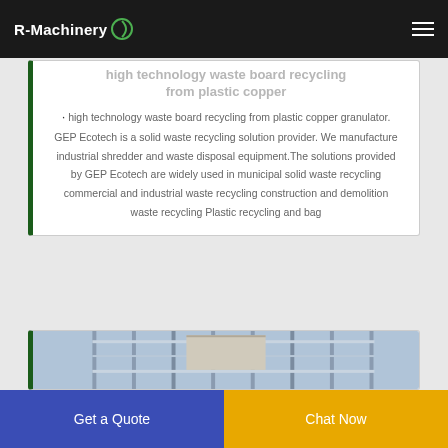R-Machinery
high technology waste board recycling from plastic copper
high technology waste board recycling from plastic copper granulator. GEP Ecotech is a solid waste recycling solution provider. We manufacture industrial shredder and waste disposal equipment.The solutions provided by GEP Ecotech are widely used in municipal solid waste recycling commercial and industrial waste recycling construction and demolition waste recycling Plastic recycling and bag
[Figure (photo): Industrial facility interior showing metal panels and structural elements]